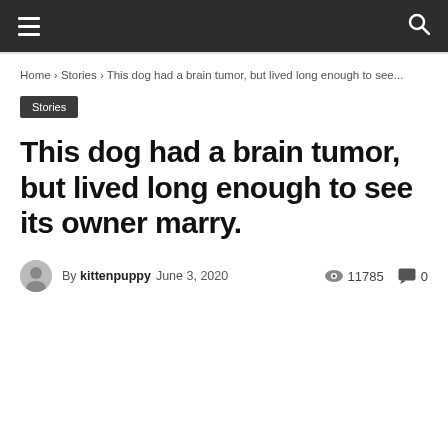Navigation bar with hamburger menu and search icon
Home › Stories › This dog had a brain tumor, but lived long enough to see...
Stories
This dog had a brain tumor, but lived long enough to see its owner marry.
By kittenpuppy June 3, 2020  11785  0